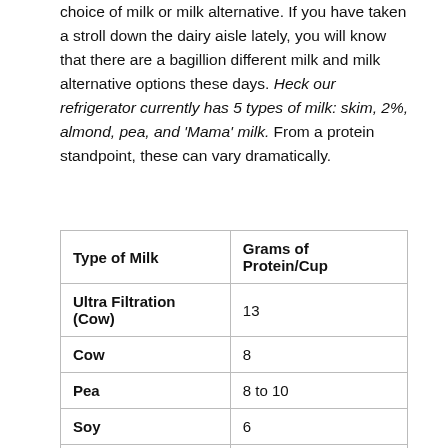choice of milk or milk alternative. If you have taken a stroll down the dairy aisle lately, you will know that there are a bagillion different milk and milk alternative options these days. Heck our refrigerator currently has 5 types of milk: skim, 2%, almond, pea, and 'Mama' milk. From a protein standpoint, these can vary dramatically.
| Type of Milk | Grams of Protein/Cup |
| --- | --- |
| Ultra Filtration (Cow) | 13 |
| Cow | 8 |
| Pea | 8 to 10 |
| Soy | 6 |
| Oat | 4 |